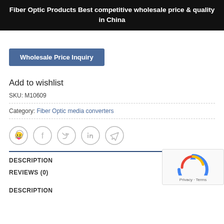Fiber Optic Products Best competitive wholesale price & quality in China
Wholesale Price Inquiry
Add to wishlist
SKU: M10609
Category: Fiber Optic media converters
[Figure (other): Social share icons: WhatsApp, Facebook, Twitter, LinkedIn, Telegram]
DESCRIPTION
REVIEWS (0)
DESCRIPTION